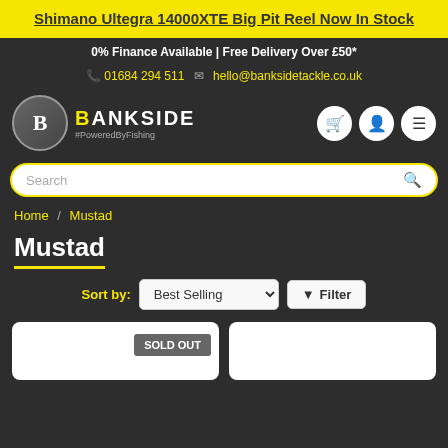Shimano Ultegra 14000XTE Big Pit Reel Now In Stock
0% Finance Available | Free Delivery Over £50*
01684 294 511   hello@banksidetackle.co.uk
[Figure (logo): Bankside Tackle logo with circular B emblem and text BANKSIDE #PoweredByFishing]
Search
Home / Mustad
Mustad
Sort by: Best Selling  Filter
[Figure (screenshot): Two product cards partially visible; left card has SOLD OUT badge]